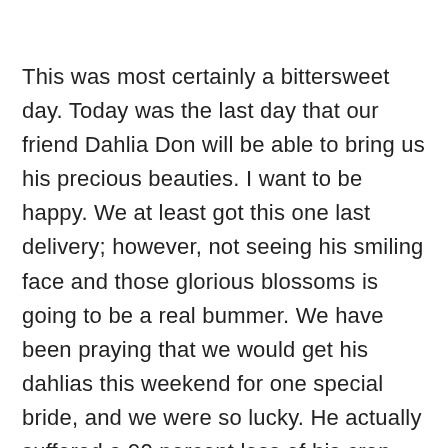This was most certainly a bittersweet day. Today was the last day that our friend Dahlia Don will be able to bring us his precious beauties. I want to be happy. We at least got this one last delivery; however, not seeing his smiling face and those glorious blossoms is going to be a real bummer. We have been praying that we would get his dahlias this weekend for one special bride, and we were so lucky. He actually suffered a 90 percent loss of his crop with the first real frost.  We will have to say goodbye to so many of our local treats. I should be happy as we move to a slightly slower season, and yet I am also very sad. We will be completing a lot of work this week that I have looked forward to for a long time. My back is sore, I am completely exhausted and I had a beautiful baby 8 months ago that I hardly can remember having. With all